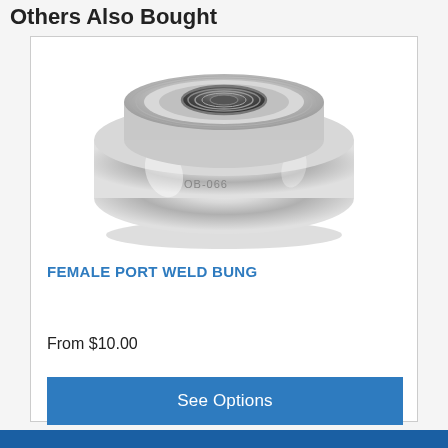Others Also Bought
[Figure (photo): A silver/chrome polished aluminum female port weld bung, circular disc-shaped fitting with threaded interior hole, engraved with part number OB-066, shown from a slight top-down angle on white background.]
FEMALE PORT WELD BUNG
From $10.00
See Options